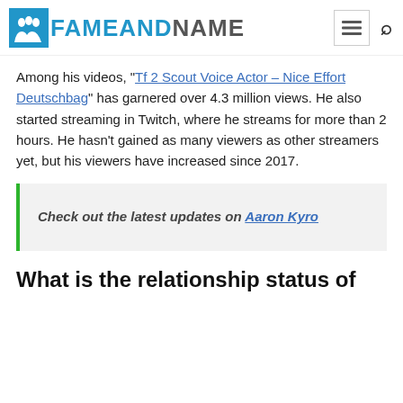FAMEANDNAME
Among his videos, "Tf 2 Scout Voice Actor – Nice Effort Deutschbag" has garnered over 4.3 million views. He also started streaming in Twitch, where he streams for more than 2 hours. He hasn't gained as many viewers as other streamers yet, but his viewers have increased since 2017.
Check out the latest updates on Aaron Kyro
What is the relationship status of